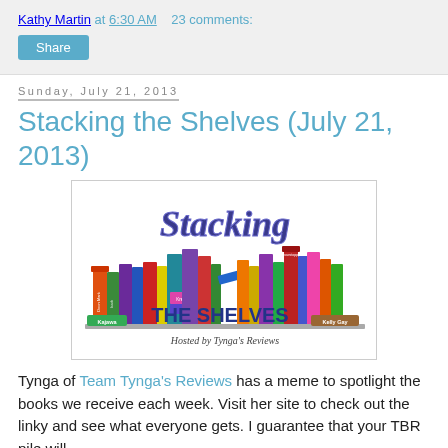Kathy Martin at 6:30 AM   23 comments:
Share
Sunday, July 21, 2013
Stacking the Shelves (July 21, 2013)
[Figure (illustration): Stacking the Shelves logo showing colorful books stacked together with the title 'Stacking the Shelves' and subtitle 'Hosted by Tynga's Reviews']
Tynga of Team Tynga's Reviews has a meme to spotlight the books we receive each week. Visit her site to check out the linky and see what everyone gets. I guarantee that your TBR pile will…